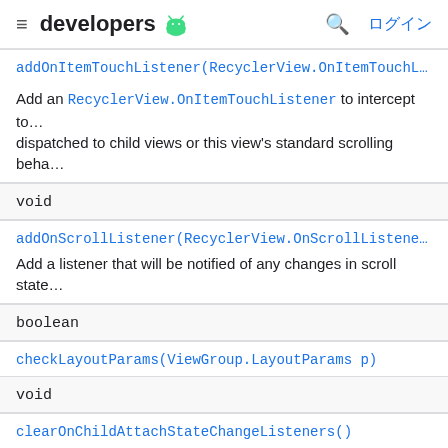developers [android logo] [search] ログイン
addOnItemTouchListener(RecyclerView.OnItemTouchL…
Add an RecyclerView.OnItemTouchListener to intercept touch events before they are dispatched to child views or this view's standard scrolling behav…
| void |
| addOnScrollListener(RecyclerView.OnScrollListene… |
| Add a listener that will be notified of any changes in scroll state… |
| boolean |
| checkLayoutParams(ViewGroup.LayoutParams p) |
| void |
| clearOnChildAttachStateChangeListeners() |
| Removes all listeners that were added via addOnChildAttachStateChangeListener(OnChildAttach… |
| void |
| clearOnScrollListeners() |